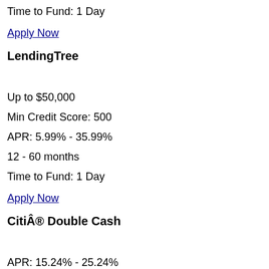Time to Fund: 1 Day
Apply Now
LendingTree
Up to $50,000
Min Credit Score: 500
APR: 5.99% - 35.99%
12 - 60 months
Time to Fund: 1 Day
Apply Now
CitiÂ® Double Cash
APR: 15.24% - 25.24%